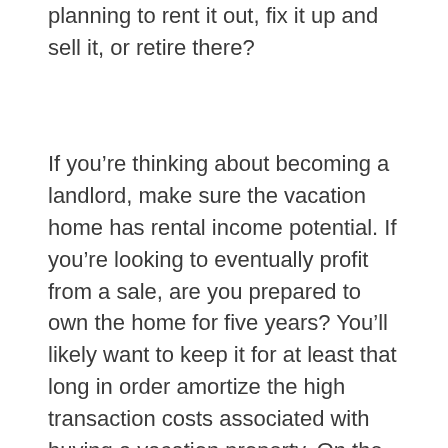planning to rent it out, fix it up and sell it, or retire there?
If you're thinking about becoming a landlord, make sure the vacation home has rental income potential. If you're looking to eventually profit from a sale, are you prepared to own the home for five years? You'll likely want to keep it for at least that long in order amortize the high transaction costs associated with buying a vacation property. On the other hand, you may see the home as part of your retirement dream, which